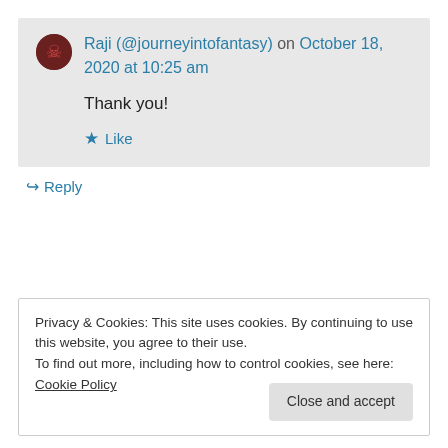Raji (@journeyintofantasy) on October 18, 2020 at 10:25 am
Thank you!
★ Like
↳ Reply
Privacy & Cookies: This site uses cookies. By continuing to use this website, you agree to their use.
To find out more, including how to control cookies, see here: Cookie Policy
Close and accept